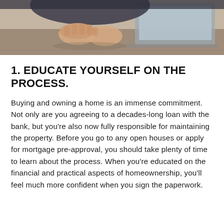[Figure (photo): Photo of a person sitting at a wooden desk with hands clasped, a laptop visible in the background, shot from above at close range.]
1. EDUCATE YOURSELF ON THE PROCESS.
Buying and owning a home is an immense commitment. Not only are you agreeing to a decades-long loan with the bank, but you're also now fully responsible for maintaining the property. Before you go to any open houses or apply for mortgage pre-approval, you should take plenty of time to learn about the process. When you're educated on the financial and practical aspects of homeownership, you'll feel much more confident when you sign the paperwork.